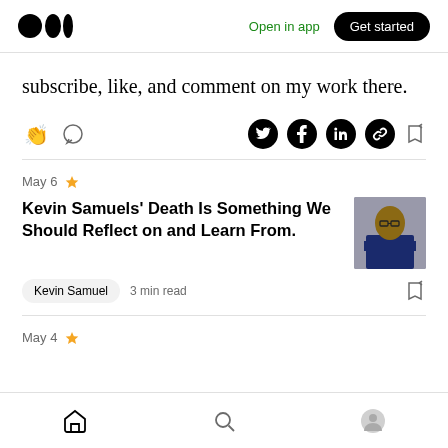Medium logo | Open in app | Get started
subscribe, like, and comment on my work there.
[Figure (infographic): Social action icons row: clap icon, comment icon, Twitter icon, Facebook icon, LinkedIn icon, link icon, bookmark icon]
May 6 ✦
Kevin Samuels' Death Is Something We Should Reflect on and Learn From.
[Figure (photo): Thumbnail photo of Kevin Samuels, a man in a suit with glasses]
Kevin Samuel · 3 min read
May 4 ✦
Bottom navigation bar with home, search, and profile icons